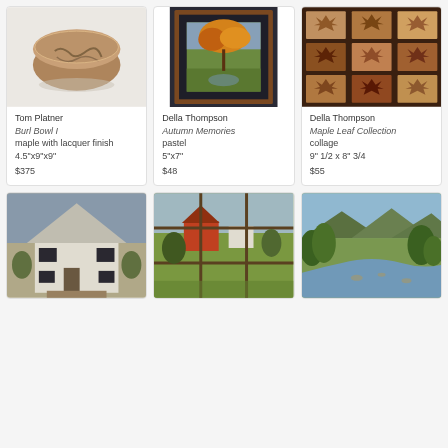[Figure (photo): Ceramic burl bowl by Tom Platner, brown glazed maple bowl with organic form on white background]
Tom Platner
Burl Bowl I
maple with lacquer finish
4.5"x9"x9"
$375
[Figure (photo): Framed pastel painting by Della Thompson - Autumn Memories, showing colorful autumn foliage in a dark wood frame]
Della Thompson
Autumn Memories
pastel
5"x7"
$48
[Figure (photo): Maple leaf collage by Della Thompson - multiple dried maple leaves arranged in a grid frame]
Della Thompson
Maple Leaf Collection
collage
9" 1/2 x 8" 3/4
$55
[Figure (photo): Painting of a house with pointed roof, white siding and dark shutters]
[Figure (photo): Painting of a rural farm scene viewed through a multi-pane window grid, showing green fields and red barn]
[Figure (photo): Painting of a river with mountains and green trees in background]